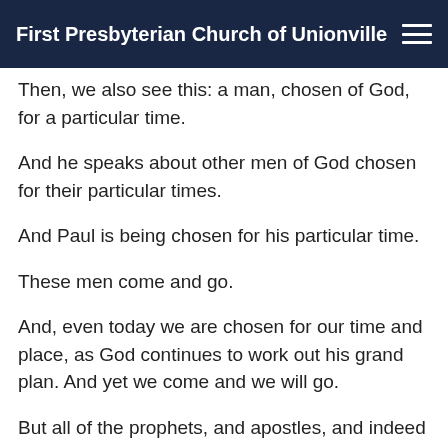First Presbyterian Church of Unionville
Then, we also see this: a man, chosen of God, for a particular time.
And he speaks about other men of God chosen for their particular times.
And Paul is being chosen for his particular time.
These men come and go.
And, even today we are chosen for our time and place, as God continues to work out his grand plan. And yet we come and we will go.
But all of the prophets, and apostles, and indeed even us today, we all point to Jesus, the eternal God-man, who, while he came to Earth and went back to heaven, did rise